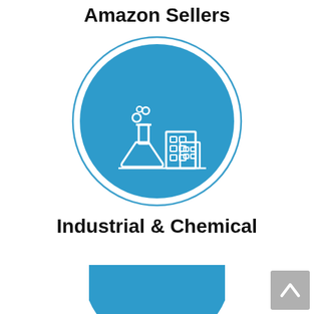Amazon Sellers
[Figure (illustration): Blue circle with white outline ring containing icons of a laboratory flask with bubbles and a multi-story building, representing Industrial & Chemical category]
Industrial & Chemical
[Figure (illustration): Partial blue circle visible at bottom of page, top portion of another category icon]
[Figure (illustration): Scroll-to-top button in bottom right corner, grey square with upward chevron arrow]